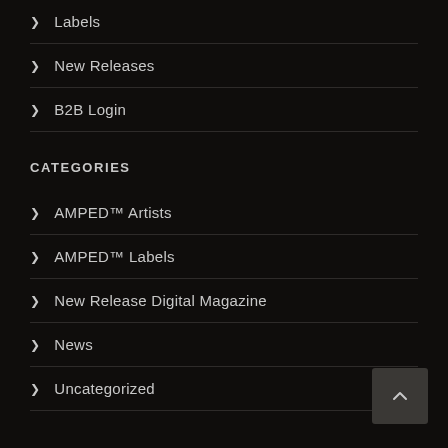Labels
New Releases
B2B Login
CATEGORIES
AMPED™ Artists
AMPED™ Labels
New Release Digital Magazine
News
Uncategorized